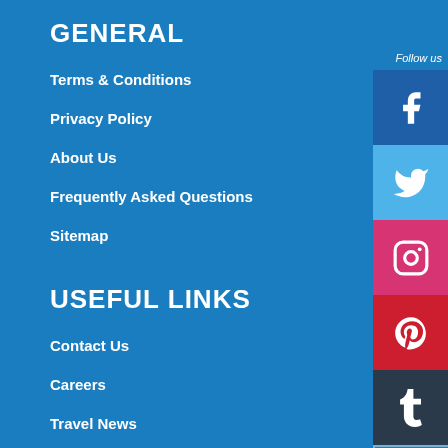GENERAL
Terms & Conditions
Privacy Policy
About Us
Frequently Asked Questions
Sitemap
USEFUL LINKS
Contact Us
Careers
Travel News
Intranet
[Figure (other): Social media icons sidebar: Follow us label, Facebook, Twitter, Instagram, Pinterest, Tumblr, LinkedIn icons]